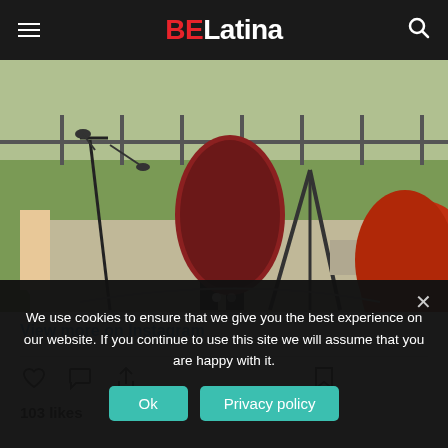BELatina
[Figure (photo): Outdoor scene showing a person with a large instrument case and microphone stand on a concrete area with green grass and fence in background; red hair visible in foreground-right]
View more on Instagram
103 likes
We use cookies to ensure that we give you the best experience on our website. If you continue to use this site we will assume that you are happy with it.